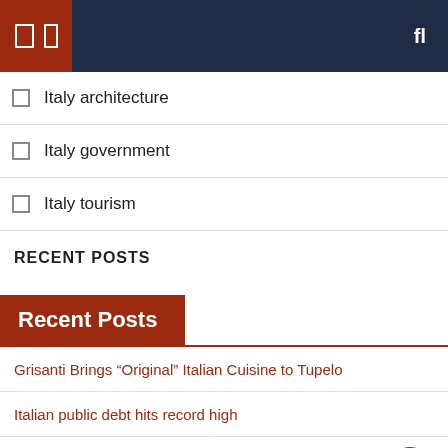Navigation header bar with icons
Italy architecture
Italy government
Italy tourism
RECENT POSTS
Recent Posts
Grisanti Brings “Original” Italian Cuisine to Tupelo
Italian public debt hits record high
Italian food, classical music and more this weekend – NBC Chicago